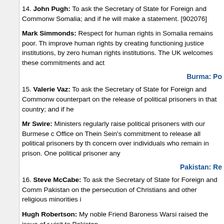14. John Pugh: To ask the Secretary of State for Foreign and Commonwealth Affairs what recent assessment he has made of the human rights situation in Somalia; and if he will make a statement. [902076]
Mark Simmonds: Respect for human rights in Somalia remains poor. The Somali Government has made commitments to improve human rights by creating functioning justice institutions, by zero tolerance towards sexual violence and by strengthening human rights institutions. The UK welcomes these commitments and actively supports them.
Burma: Po
15. Valerie Vaz: To ask the Secretary of State for Foreign and Commonwealth Affairs what discussions he has had with his counterpart on the release of political prisoners in that country; and if he will make a statement.
Mr Swire: Ministers regularly raise political prisoners with our Burmese counterparts. Lord Livingston wrote to the Foreign Office on Thein Sein's commitment to release all political prisoners by the end of 2013. Ministers continue to raise concern over individuals who remain in prison. One political prisoner any...
Pakistan: Re
16. Steve McCabe: To ask the Secretary of State for Foreign and Commonwealth Affairs what discussions he has had with the Government of Pakistan on the persecution of Christians and other religious minorities in that country.
Hugh Robertson: My noble Friend Baroness Warsi raised the issue of religious minorities with the Pakistani Government during her recent visit to Pakistan
21 Jan 2014 : Column 183W
and during the UN General Assembly. We continue to raise the issue of religious minorities in Pakistan.